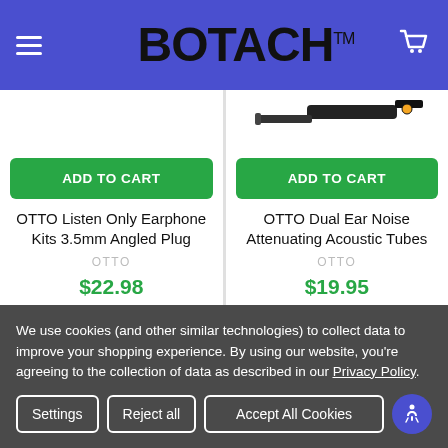BOTACH™
[Figure (photo): Product image area for OTTO Listen Only Earphone Kits 3.5mm Angled Plug - partially visible]
[Figure (photo): Product image showing OTTO Dual Ear Noise Attenuating Acoustic Tubes device - partially visible at top]
ADD TO CART
OTTO Listen Only Earphone Kits 3.5mm Angled Plug
OTTO
$22.98
ADD TO CART
OTTO Dual Ear Noise Attenuating Acoustic Tubes
OTTO
$19.95
We use cookies (and other similar technologies) to collect data to improve your shopping experience. By using our website, you're agreeing to the collection of data as described in our Privacy Policy.
Settings | Reject all | Accept All Cookies